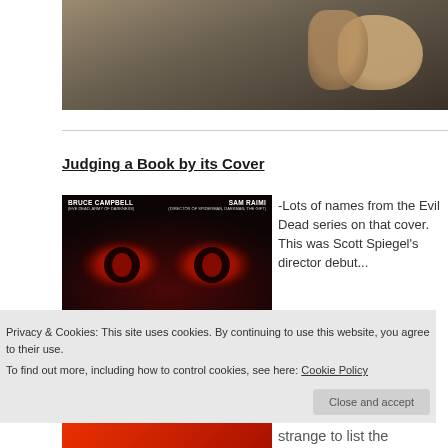[Figure (photo): Partial photo of a person at top of page, dark background with hand visible]
Judging a Book by its Cover
[Figure (photo): Book cover with red glowing eyes, names BRUCE CAMPBELL, SAM RAIMI, LAWRENCE BENDER, credits for Reservoir Dogs, Pulp Fiction, From Dusk Till Dawn]
-Lots of names from the Evil Dead series on that cover.  This was Scott Spiegel's director debut...
Privacy & Cookies: This site uses cookies. By continuing to use this website, you agree to their use.
To find out more, including how to control cookies, see here: Cookie Policy
Close and accept
strange to list the